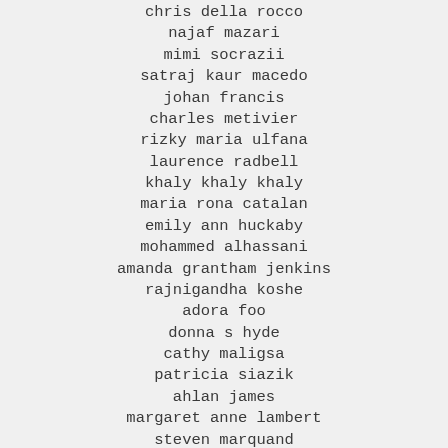chris della rocco
najaf mazari
mimi socrazii
satraj kaur macedo
johan francis
charles metivier
rizky maria ulfana
laurence radbell
khaly khaly khaly
maria rona catalan
emily ann huckaby
mohammed alhassani
amanda grantham jenkins
rajnigandha koshe
adora foo
donna s hyde
cathy maligsa
patricia siazik
ahlan james
margaret anne lambert
steven marquand
ashley rucha
theo bocolas
ellen hewlett
embong judith